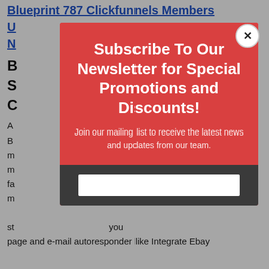Blueprint 787 Clickfunnels Members
U... ...N...
B...
S...
C...
A... B... and m... m... fa... m... st... page and e-mail autoresponder like Integrate Ebay
[Figure (screenshot): Modal popup overlay with red background. Title: 'Subscribe To Our Newsletter for Special Promotions and Discounts!' Subtitle: 'Join our mailing list to receive the latest news and updates from our team.' Dark section with email input field. Close button (X) in top right corner.]